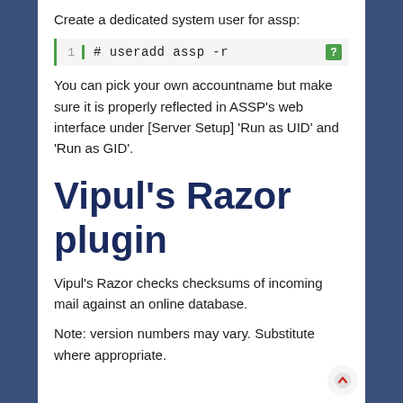Create a dedicated system user for assp:
# useradd assp -r
You can pick your own accountname but make sure it is properly reflected in ASSP’s web interface under [Server Setup] ‘Run as UID’ and ‘Run as GID’.
Vipul’s Razor plugin
Vipul’s Razor checks checksums of incoming mail against an online database.
Note: version numbers may vary. Substitute where appropriate.